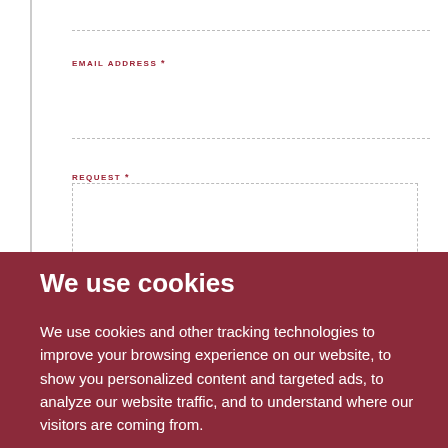EMAIL ADDRESS *
REQUEST *
We use cookies
We use cookies and other tracking technologies to improve your browsing experience on our website, to show you personalized content and targeted ads, to analyze our website traffic, and to understand where our visitors are coming from.